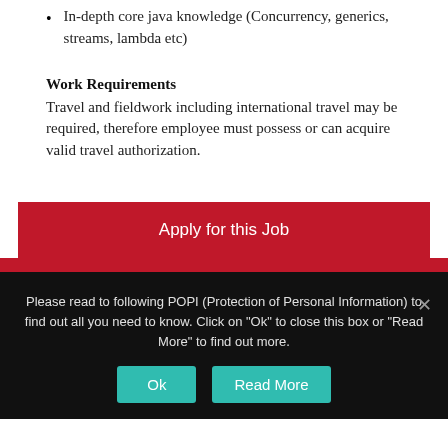In-depth core java knowledge (Concurrency, generics, streams, lambda etc)
Work Requirements
Travel and fieldwork including international travel may be required, therefore employee must possess or can acquire valid travel authorization.
Apply for this Job
Please read to following POPI (Protection of Personal Information) to find out all you need to know. Click on "Ok" to close this box or "Read More" to find out more.